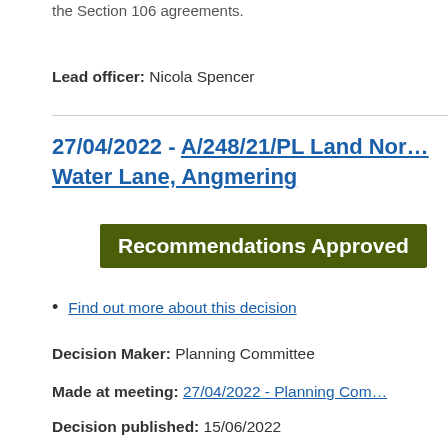the Section 106 agreements.
Lead officer: Nicola Spencer
27/04/2022 - A/248/21/PL Land Nor… Water Lane, Angmering
Recommendations Approved
Find out more about this decision
Decision Maker: Planning Committee
Made at meeting: 27/04/2022 - Planning Com…
Decision published: 15/06/2022